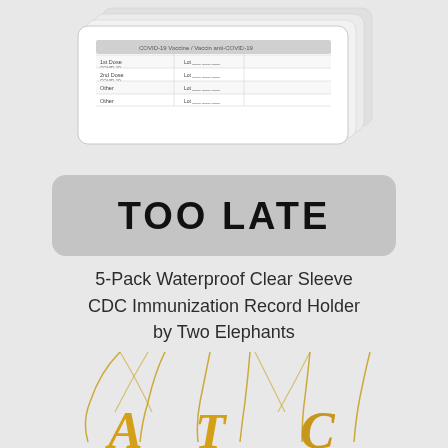[Figure (photo): Stacked white card/tablet devices showing a COVID immunization record table document, fanned out slightly]
TOO LATE
5-Pack Waterproof Clear Sleeve CDC Immunization Record Holder by Two Elephants
[Figure (photo): Three gold initial letter necklaces (letters A, T, C) on chains displayed against a light gray background]